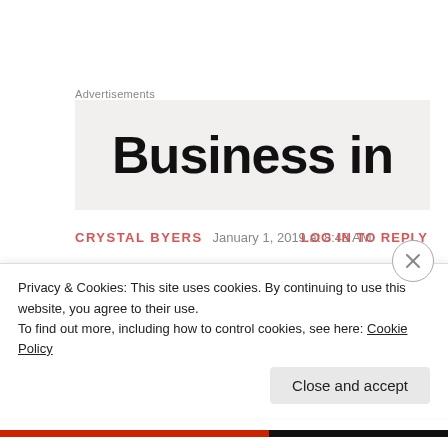Advertisements
[Figure (other): Advertisement banner with large bold text 'Business in' on a light gray/beige background]
CRYSTAL BYERS   January 1, 2019 at 8:48 AM   LOG IN TO REPLY
[Figure (photo): Circular avatar photo of a smiling blonde woman]
“So, I pray while I cook, and set my intentions on positive and loving thoughts.” I love that. God Bless You, Carol!
Privacy & Cookies: This site uses cookies. By continuing to use this website, you agree to their use.
To find out more, including how to control cookies, see here: Cookie Policy
Close and accept